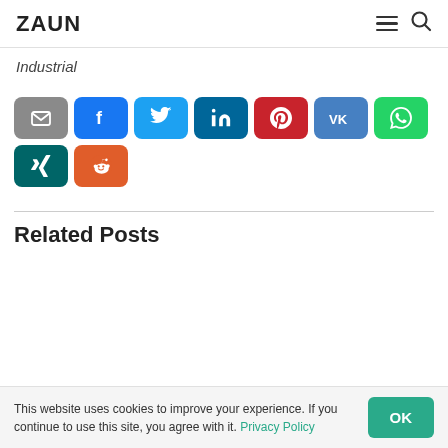ZAUN
Industrial
[Figure (infographic): Row of social sharing buttons: email (grey), Facebook (blue), Twitter (light blue), LinkedIn (dark teal), Pinterest (red), VK (blue), WhatsApp (green), then second row: Xing (dark teal), Reddit (orange)]
Related Posts
This website uses cookies to improve your experience. If you continue to use this site, you agree with it. Privacy Policy